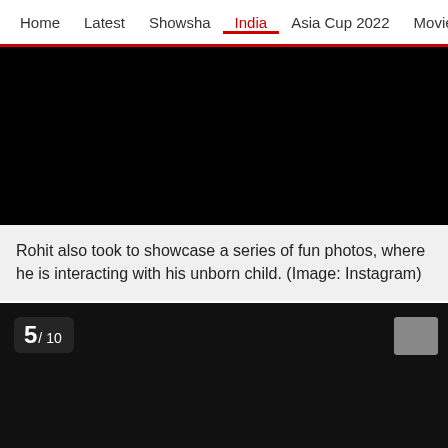Home   Latest   Showsha   India   Asia Cup 2022   Movies   Cricket
[Figure (photo): Dark/black image area at top of page]
Rohit also took to showcase a series of fun photos, where he is interacting with his unborn child. (Image: Instagram)
[Figure (photo): Dark/black image area, numbered 5/10 with navigation thumbnail]